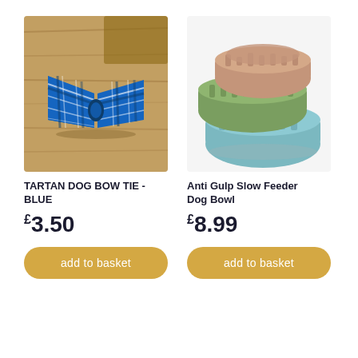[Figure (photo): A blue tartan plaid dog bow tie accessory placed on a wooden surface]
[Figure (photo): Three stacked anti-gulp slow feeder dog bowls in pink/brown, green, and teal/blue colors]
TARTAN DOG BOW TIE - BLUE
Anti Gulp Slow Feeder Dog Bowl
£3.50
£8.99
add to basket
add to basket